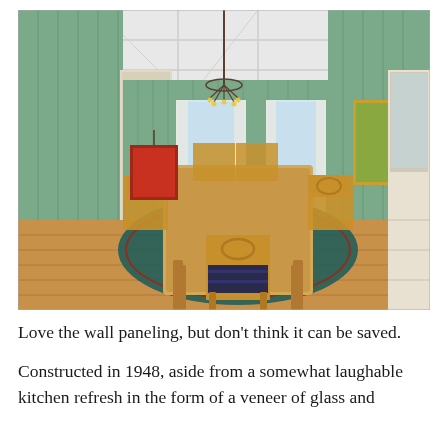[Figure (photo): Interior photo of a vintage dining room with sage green board-and-batten wall paneling, white coffered ceiling, hardwood floors, a wooden dining table with matching chairs, a chandelier, two windows with sheer curtains, decorative artwork on the walls, and a built-in cabinet/hutch on the right side.]
Love the wall paneling, but don't think it can be saved.
Constructed in 1948, aside from a somewhat laughable kitchen refresh in the form of a veneer of glass and